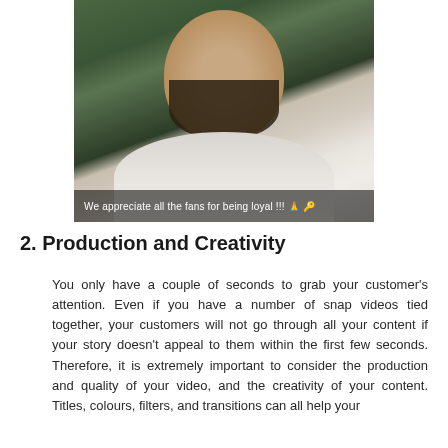[Figure (photo): A man with a dark beard wearing a white garment, photographed outdoors near green foliage. A Snapchat-style caption bar reads: We appreciate all the fans for being loyal !!! 🙏 🔑]
2. Production and Creativity
You only have a couple of seconds to grab your customer's attention. Even if you have a number of snap videos tied together, your customers will not go through all your content if your story doesn't appeal to them within the first few seconds. Therefore, it is extremely important to consider the production and quality of your video, and the creativity of your content. Titles, colours, filters, and transitions can all help your